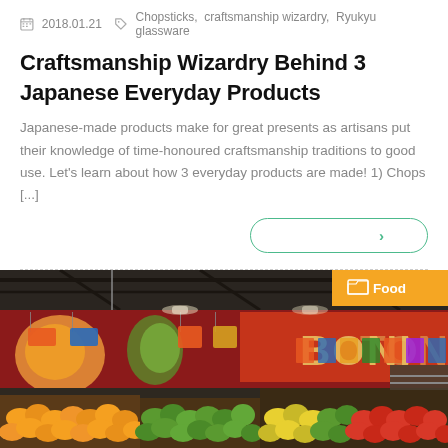2018.01.21  Chopsticks, craftsmanship wizardry, Ryukyu glassware
Craftsmanship Wizardry Behind 3 Japanese Everyday Products
Japanese-made products make for great presents as artisans put their knowledge of time-honoured craftsmanship traditions to good use. Let’s learn about how 3 everyday products are made! 1) Chops [...]
[Figure (photo): Interior of a grocery store / supermarket with colorful produce displays, wall murals of fruits, hanging pendant scale, and a 'Food' category badge in the top-right corner]